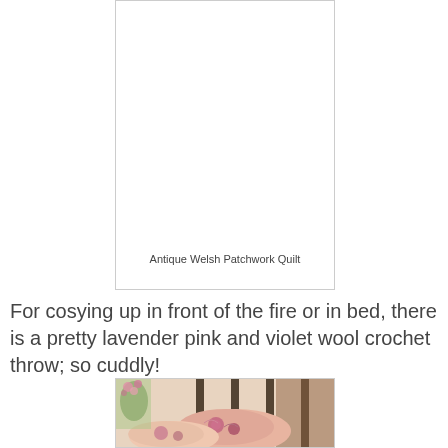[Figure (photo): An empty white rectangular image frame with a thin border, representing an Antique Welsh Patchwork Quilt photo placeholder]
Antique Welsh Patchwork Quilt
For cosying up in front of the fire or in bed, there is a pretty lavender pink and violet wool crochet throw; so cuddly!
[Figure (photo): A partially visible photo of decorative pillows with floral embroidery patterns in pink and rose tones, displayed on what appears to be a bed or furniture with dark wooden elements and flowers in background]